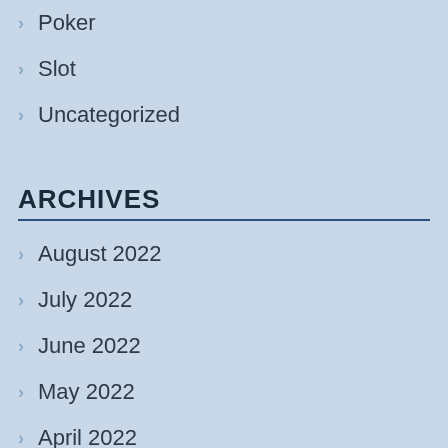Poker
Slot
Uncategorized
ARCHIVES
August 2022
July 2022
June 2022
May 2022
April 2022
March 2022